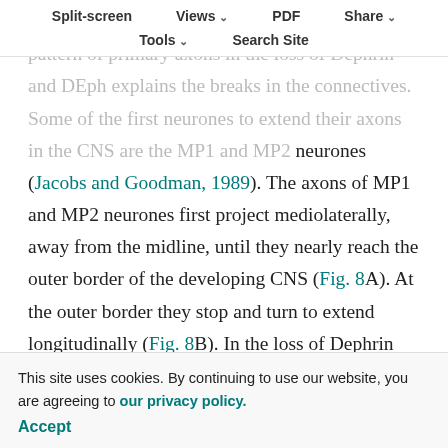Split-screen  Views  PDF  Share  Tools  Search Site
connectives. Our examination of the projection pattern of primary axons in the loss of Dephrin and DEph explains the breaks in the connectives. Some of the first neurones to extend their axons in the CNS are the MP1 and MP2 neurones (Jacobs and Goodman, 1989). The axons of MP1 and MP2 neurones first project mediolaterally, away from the midline, until they nearly reach the outer border of the developing CNS (Fig. 8A). At the outer border they stop and turn to extend longitudinally (Fig. 8B). In the loss of Dephrin and DEph, the MP2 neurones do not turn but exit the CNS (Fig. 5A,C). It seems likely that an aberrant exit of interneurones can result in breaks in the connectives. The expression of Dephrin along the outside of the CNS seems ... repulsive capacity of Dephrin on longitudinal axons is evident
This site uses cookies. By continuing to use our website, you are agreeing to our privacy policy. Accept